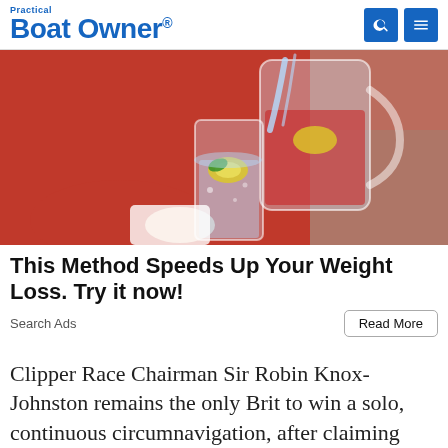Practical Boat Owner
[Figure (photo): Person in red sweater pouring sparkling water with lemon slices from a glass pitcher into a tall glass]
This Method Speeds Up Your Weight Loss. Try it now!
Search Ads
Read More
Clipper Race Chairman Sir Robin Knox-Johnston remains the only Brit to win a solo, continuous circumnavigation, after claiming victory in the